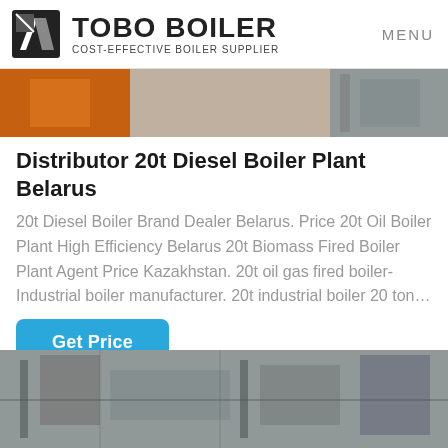TOBO BOILER COST-EFFECTIVE BOILER SUPPLIER | MENU
[Figure (photo): Partial view of industrial boiler equipment, orange and metallic tones, top of page]
Distributor 20t Diesel Boiler Plant Belarus
20t Diesel Boiler Brand Dealer Belarus. Price 20t Oil Boiler Plant High Efficiency Belarus 20t Biomass Fired Boiler Plant Agent Price Kazakhstan. 20t oil gas fired boiler-Industrial boiler manufacturer. 20t industrial boiler 20 ton…
[Figure (other): Get Price button — blue rounded rectangle]
[Figure (other): WhatsApp green button with WhatsApp icon and text]
[Figure (photo): Industrial boiler room with pipes and ducts, bottom of page]